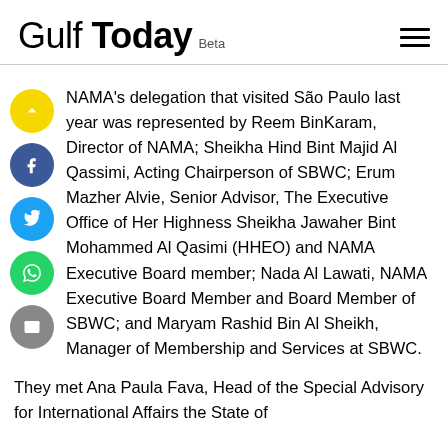Gulf Today Beta
NAMA's delegation that visited São Paulo last year was represented by Reem BinKaram, Director of NAMA; Sheikha Hind Bint Majid Al Qassimi, Acting Chairperson of SBWC; Erum Mazher Alvie, Senior Advisor, The Executive Office of Her Highness Sheikha Jawaher Bint Mohammed Al Qasimi (HHEO) and NAMA Executive Board member; Nada Al Lawati, NAMA Executive Board Member and Board Member of SBWC; and Maryam Rashid Bin Al Sheikh, Manager of Membership and Services at SBWC.
They met Ana Paula Fava, Head of the Special Advisory for International Affairs the State of